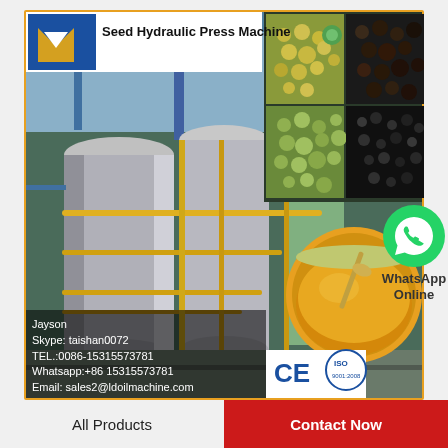[Figure (photo): Product advertisement image for Seed Hydraulic Press Machine. Shows industrial oil press machinery (large metal tanks, pipes, green equipment) in a factory setting. Inset photos show various seeds/grains and a glass bowl of oil. Logo in top-left corner. Contact info overlay: Jayson, Skype: taishan0072, TEL.:0086-15315573781, Whatsapp:+86 15315573781, Email: sales2@ldoilmachine.com. CE and ISO certification logos. WhatsApp Online button with green WhatsApp icon on right side.]
Rice Bran Oil Factory
All Products
Contact Now